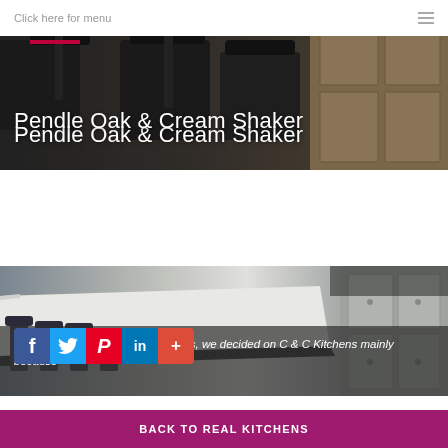Click here for menu
Pendle Oak & Cream Shaker
[Figure (photo): Kitchen interior photo showing bar stools and oak cabinetry with dark overlay]
[Figure (photo): Kitchen counter with white marble island top and grey shaker cabinets]
Initially overwhelmed by the options, we decided on C & C Kitchens mainly because
BACK TO REAL KITCHENS